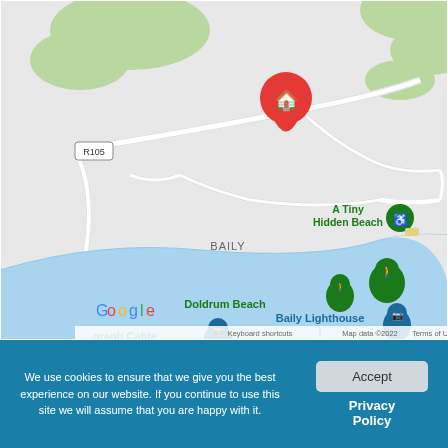[Figure (map): Google Maps screenshot showing Baily area in Ireland, with a red home location pin marker, road R105, labels for Baily, Doldrum Beach, A Tiny Hidden Beach, Baily Lighthouse, and graph Cable POIs. Blue water area visible in lower portion. Google logo and map attribution at bottom.]
We use cookies to ensure that we give you the best experience on our website. If you continue to use this site we will assume that you are happy with it.
Accept
Privacy Policy